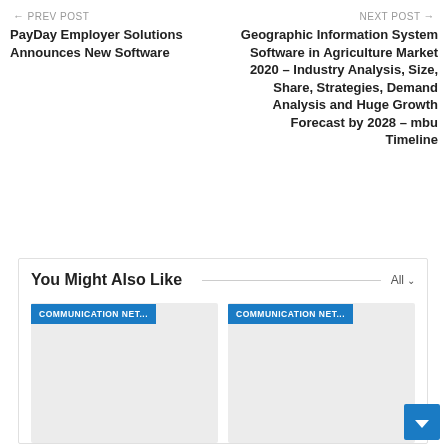← PREV POST
NEXT POST →
PayDay Employer Solutions Announces New Software
Geographic Information System Software in Agriculture Market 2020 – Industry Analysis, Size, Share, Strategies, Demand Analysis and Huge Growth Forecast by 2028 – mbu Timeline
You Might Also Like
All ∨
COMMUNICATION NET...
COMMUNICATION NET...